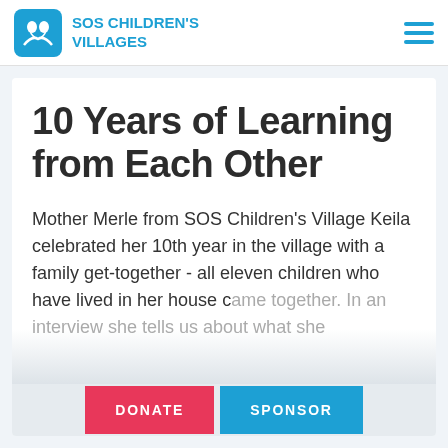SOS CHILDREN'S VILLAGES
10 Years of Learning from Each Other
Mother Merle from SOS Children's Village Keila celebrated her 10th year in the village with a family get-together - all eleven children who have lived in her house came together. In an interview she tells us about what she